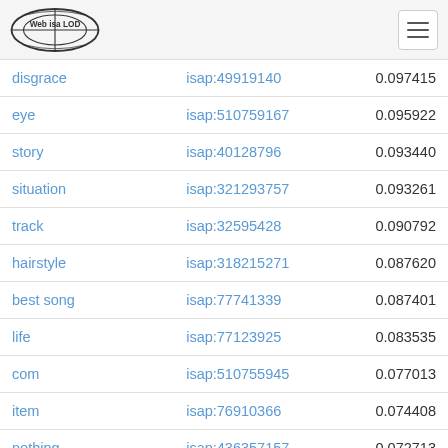Web isa LOD [logo] [hamburger menu]
| term | isap | score |
| --- | --- | --- |
| disgrace | isap:49919140 | 0.097415 |
| eye | isap:510759167 | 0.095922 |
| story | isap:40128796 | 0.093440 |
| situation | isap:321293757 | 0.093261 |
| track | isap:32595428 | 0.090792 |
| hairstyle | isap:318215271 | 0.087620 |
| best song | isap:77741339 | 0.087401 |
| life | isap:77123925 | 0.083535 |
| com | isap:510755945 | 0.077013 |
| item | isap:76910366 | 0.074408 |
| nothing | isap:436357157 | 0.072713 |